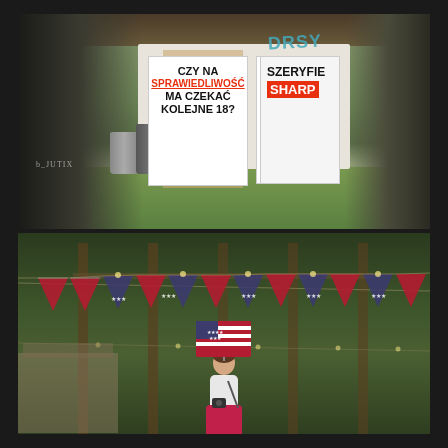[Figure (photo): Outdoor scene with a white wall displaying three posters in Polish about justice and a sheriff named Sharp, with a central photo of a woman named Tracy (age 18). Graffiti 'DRSY' in blue on the wall. Trash cans and a grill visible on the left, wooden structure overhead, trees and grass in background.]
[Figure (photo): Outdoor scene with strings of American flag bunting hanging between wooden posts in a forested area. A woman stands in the foreground holding an American flag as an umbrella, wearing a white top and pink/magenta skirt with a camera bag.]